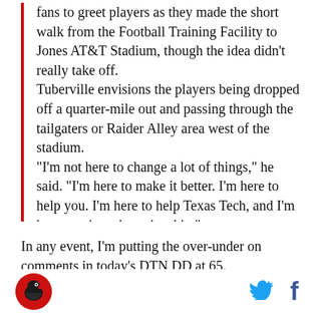fans to greet players as they made the short walk from the Football Training Facility to Jones AT&T Stadium, though the idea didn't really take off.
Tuberville envisions the players being dropped off a quarter-mile out and passing through the tailgaters or Raider Alley area west of the stadium.
"I'm not here to change a lot of things," he said. "I'm here to make it better. I'm here to help you. I'm here to help Texas Tech, and I'm here to win a championship."
In any event, I'm putting the over-under on comments in today's DTN DD at 65.
[Figure (logo): Red circular logo with a black bird/raider mascot silhouette]